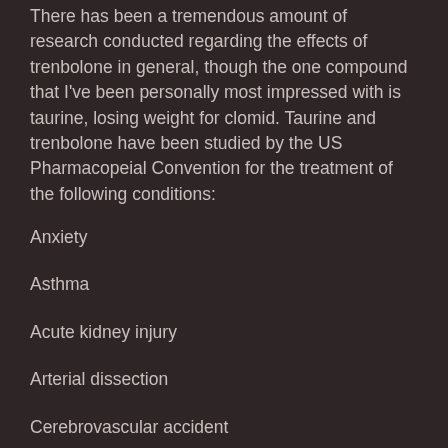There has been a tremendous amount of research conducted regarding the effects of trenbolone in general, though the one compound that I've been personally most impressed with is taurine, losing weight for clomid. Taurine and trenbolone have been studied by the US Pharmacopeial Convention for the treatment of the following conditions:
Anxiety
Asthma
Acute kidney injury
Arterial dissection
Cerebrovascular accident
Chronic kidney injury